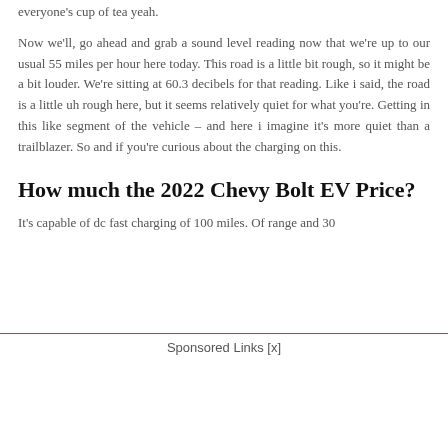everyone's cup of tea yeah.
Now we'll, go ahead and grab a sound level reading now that we're up to our usual 55 miles per hour here today. This road is a little bit rough, so it might be a bit louder. We're sitting at 60.3 decibels for that reading. Like i said, the road is a little uh rough here, but it seems relatively quiet for what you're. Getting in this like segment of the vehicle – and here i imagine it's more quiet than a trailblazer. So and if you're curious about the charging on this.
How much the 2022 Chevy Bolt EV Price?
It's capable of dc fast charging of 100 miles. Of range and 30
Sponsored Links [x]